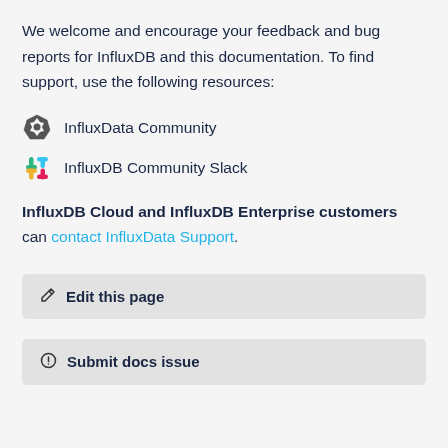We welcome and encourage your feedback and bug reports for InfluxDB and this documentation. To find support, use the following resources:
InfluxData Community
InfluxDB Community Slack
InfluxDB Cloud and InfluxDB Enterprise customers can contact InfluxData Support.
Edit this page
Submit docs issue